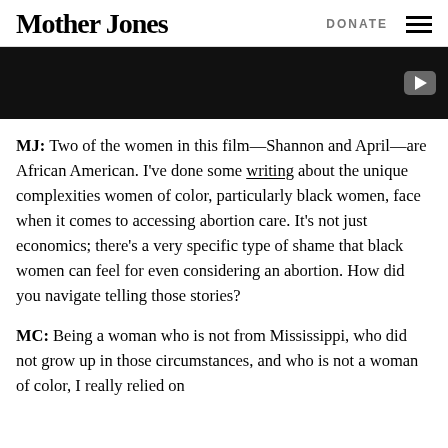Mother Jones | DONATE
[Figure (other): Dark video thumbnail with YouTube play button in bottom right corner]
MJ: Two of the women in this film—Shannon and April—are African American. I've done some writing about the unique complexities women of color, particularly black women, face when it comes to accessing abortion care. It's not just economics; there's a very specific type of shame that black women can feel for even considering an abortion. How did you navigate telling those stories?
MC: Being a woman who is not from Mississippi, who did not grow up in those circumstances, and who is not a woman of color, I really relied on